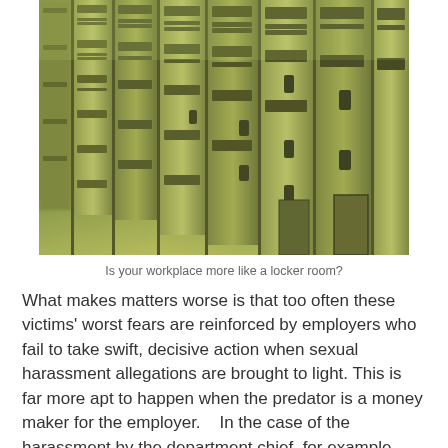[Figure (photo): Photograph of a row of metal school/workplace lockers with a greenish-yellow tint, shot from an angle showing multiple locker columns with ventilation slots and combination locks.]
Is your workplace more like a locker room?
What makes matters worse is that too often these victims' worst fears are reinforced by employers who fail to take swift, decisive action when sexual harassment allegations are brought to light. This is far more apt to happen when the predator is a money maker for the employer.    In the case of the harassment by the department chief, for example, several other women had complained about his